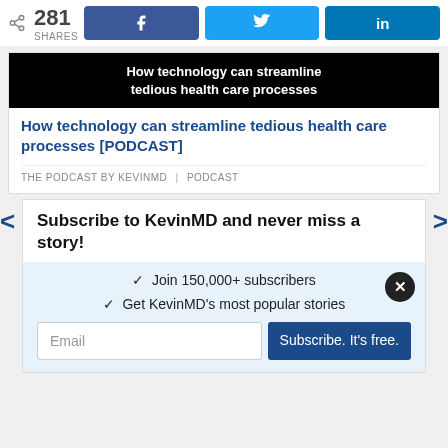< 281 SHARES
[Figure (screenshot): Black background image with white bold text: 'How technology can streamline tedious health care processes']
How technology can streamline tedious health care processes [PODCAST]
THE PODCAST BY KEVINMD | PODCAST
Subscribe to KevinMD and never miss a story!
✓ Join 150,000+ subscribers
✓ Get KevinMD's most popular stories